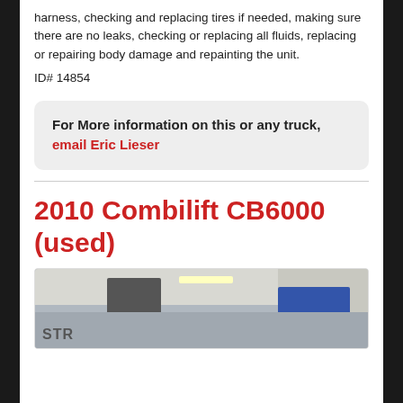harness, checking and replacing tires if needed, making sure there are no leaks, checking or replacing all fluids, replacing or repairing body damage and repainting the unit.
ID# 14854
For More information on this or any truck, email Eric Lieser
2010 Combilift CB6000 (used)
[Figure (photo): Photo of a Combilift CB6000 forklift inside a warehouse or garage, with visible ceiling lights and a blue truck/vehicle in the background. Text 'STR' visible at bottom left.]